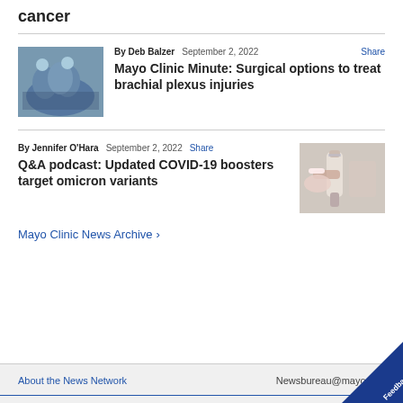cancer
[Figure (photo): Surgical team in blue scrubs and masks operating in an operating room]
By Deb Balzer   September 2, 2022   Share
Mayo Clinic Minute: Surgical options to treat brachial plexus injuries
By Jennifer O'Hara   September 2, 2022   Share
Q&A podcast: Updated COVID-19 boosters target omicron variants
[Figure (photo): Gloved hand holding a medical syringe with vials]
Mayo Clinic News Archive >
About the News Network   Newsbureau@mayo.edu   Feedback